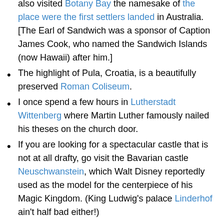stopped off in Sandwich and visited the Earl's place. I also visited Botany Bay the namesake of the place were the first settlers landed in Australia. [The Earl of Sandwich was a sponsor of Caption James Cook, who named the Sandwich Islands (now Hawaii) after him.]
The highlight of Pula, Croatia, is a beautifully preserved Roman Coliseum.
I once spend a few hours in Lutherstadt Wittenberg where Martin Luther famously nailed his theses on the church door.
If you are looking for a spectacular castle that is not at all drafty, go visit the Bavarian castle Neuschwanstein, which Walt Disney reportedly used as the model for the centerpiece of his Magic Kingdom. (King Ludwig's palace Linderhof ain't half bad either!)
I've had the pleasure of visiting more than a few areas over which the Habsburgs ruled.
While in Bratislava, Slovakia, I saw a memorial to all the people killed trying to escape from behind the Iron...